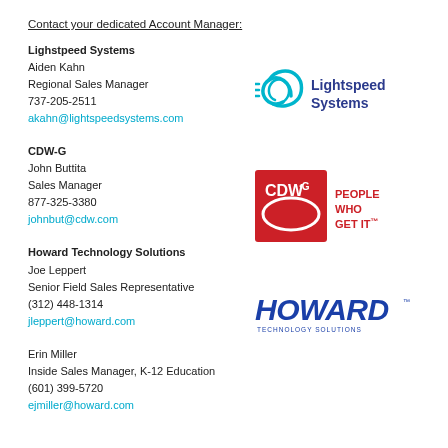Contact your dedicated Account Manager:
Lighstpeed Systems
Aiden Kahn
Regional Sales Manager
737-205-2511
akahn@lightspeedsystems.com
[Figure (logo): Lightspeed Systems logo with cyan swirl icon and navy text]
CDW-G
John Buttita
Sales Manager
877-325-3380
johnbut@cdw.com
[Figure (logo): CDW-G logo red background with white text and PEOPLE WHO GET IT tagline]
Howard Technology Solutions
Joe Leppert
Senior Field Sales Representative
(312) 448-1314
jleppert@howard.com
[Figure (logo): Howard Technology Solutions logo in blue italic bold text]
Erin Miller
Inside Sales Manager, K-12 Education
(601) 399-5720
ejmiller@howard.com